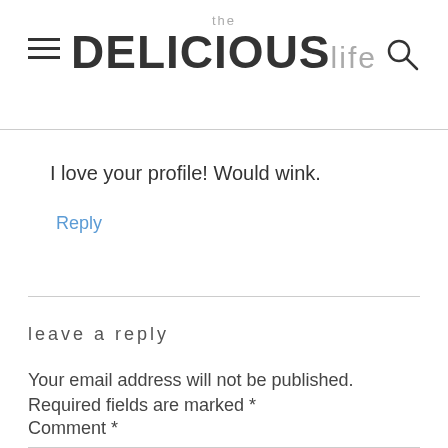the DELICIOUSlife
I love your profile! Would wink.
Reply
leave a reply
Your email address will not be published. Required fields are marked *
Comment *